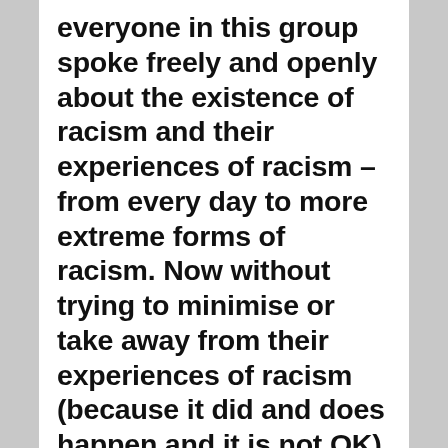everyone in this group spoke freely and openly about the existence of racism and their experiences of racism – from every day to more extreme forms of racism. Now without trying to minimise or take away from their experiences of racism (because it did and does happen and it is not OK), I found it interesting that there was a recognition of one's differential